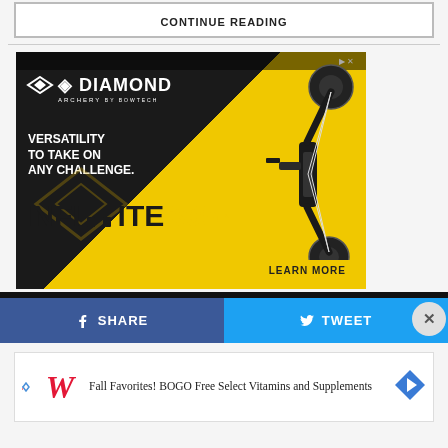CONTINUE READING
[Figure (illustration): Diamond Archery advertisement featuring the Infinite 305 compound bow. Black and yellow background with bow image, text reads: DIAMOND ARCHERY BY BOWTECH, VERSATILITY TO TAKE ON ANY CHALLENGE. INFINITE 305. LEARN MORE button.]
[Figure (infographic): Social sharing bar with Facebook SHARE button (blue) and Twitter TWEET button (light blue), plus a close X button]
[Figure (illustration): Walgreens advertisement: Fall Favorites! BOGO Free Select Vitamins and Supplements]